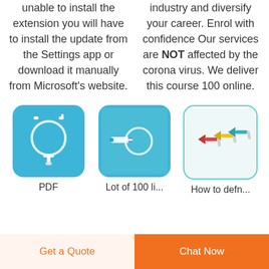unable to install the extension you will have to install the update from the Settings app or download it manually from Microsoft's website.
industry and diversify your career. Enrol with confidence Our services are NOT affected by the corona virus. We deliver this course 100 online.
[Figure (photo): Medical catheter tubing with connectors on blue background]
PDF
[Figure (photo): Medical suction catheter tubing coiled on blue background]
Lot of 100 Li...
[Figure (photo): Colorful medical butterfly needles/IV catheters (red, yellow, blue) on white background]
How to defn...
Get a Quote   Chat Now